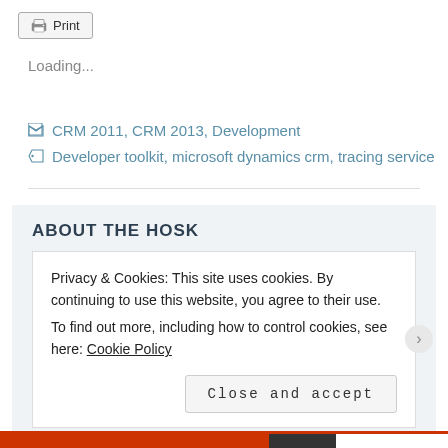Print
Loading...
CRM 2011, CRM 2013, Development
Developer toolkit, microsoft dynamics crm, tracing service
ABOUT THE HOSK
Privacy & Cookies: This site uses cookies. By continuing to use this website, you agree to their use.
To find out more, including how to control cookies, see here: Cookie Policy
Close and accept